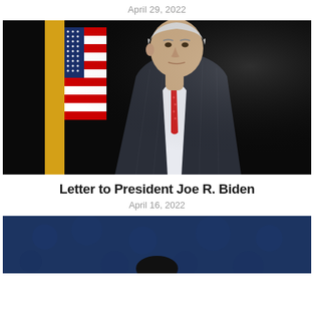April 29, 2022
[Figure (photo): Photo of President Joe Biden in a dark suit with red tie, standing in front of an American flag with a dark background]
Letter to President Joe R. Biden
April 16, 2022
[Figure (photo): Partial photo with dark blue patterned background, showing the top of a person's head]